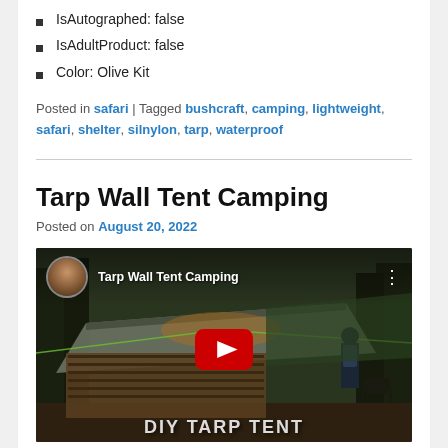IsAutographed: false
IsAdultProduct: false
Color: Olive Kit
Posted in safari | Tagged bushcraft, camping, lightweight, safari, shelter, silnylon, tarp, waterproof
Tarp Wall Tent Camping
Posted on August 20, 2022
[Figure (screenshot): YouTube video thumbnail for 'Tarp Wall Tent Camping' showing a tarp shelter in a forest with a YouTube play button overlay and text 'DIY TARP TENT' at the bottom.]